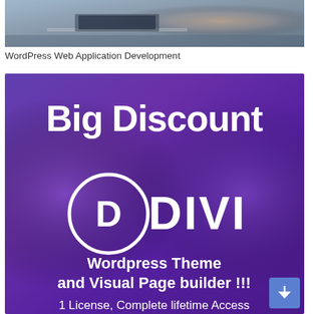[Figure (photo): Top partial image of a person working on a laptop, cropped at the top of the page]
WordPress Web Application Development
[Figure (infographic): Purple gradient banner advertising 'Big Discount' on DIVI WordPress Theme and Visual Page builder. Features the DIVI logo (circle with D letter) and text: 'Wordpress Theme and Visual Page builder !!!' and '1 License, Complete lifetime Access']